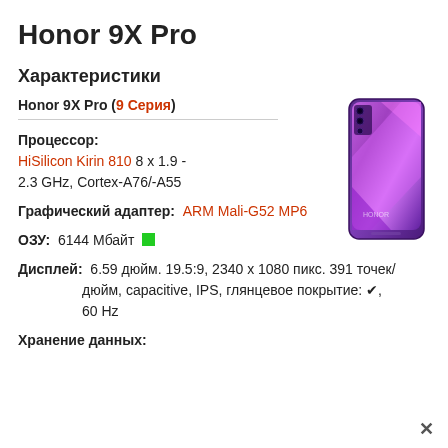Honor 9X Pro
Характеристики
Honor 9X Pro (9 Серия)
[Figure (photo): Honor 9X Pro smartphone in purple/violet color, front and back view showing triple camera and colorful display]
Процессор: HiSilicon Kirin 810 8 x 1.9 - 2.3 GHz, Cortex-A76/-A55
Графический адаптер: ARM Mali-G52 MP6
ОЗУ: 6144 Мбайт
Дисплей: 6.59 дюйм. 19.5:9, 2340 x 1080 пикс. 391 точек/дюйм, capacitive, IPS, глянцевое покрытие: ✔, 60 Hz
Хранение данных: